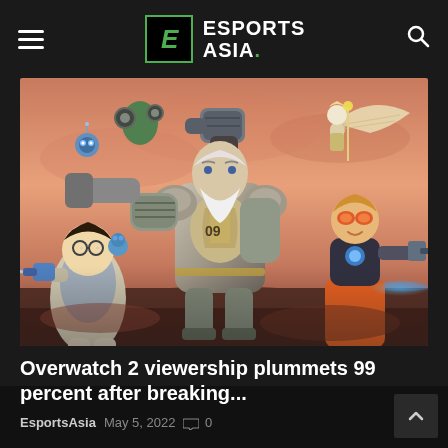ESPORTS ASIA.
[Figure (illustration): Overwatch 2 video game characters action artwork showing multiple heroes including a large armored character in the center, a female character with a gun on the left, a character with wings in the upper right, and other heroes in a dramatic action pose against a warm sky background.]
Overwatch 2 viewership plummets 99 percent after breaking...
EsportsAsia  May 5, 2022  0